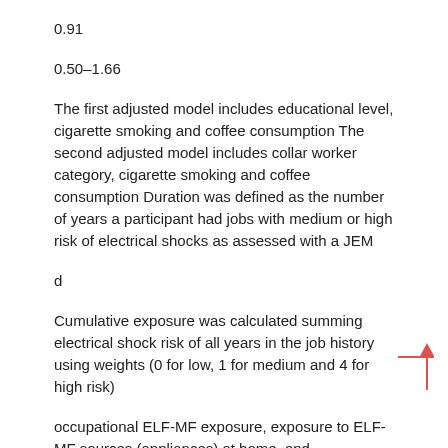0.91
0.50–1.66
The first adjusted model includes educational level, cigarette smoking and coffee consumption The second adjusted model includes collar worker category, cigarette smoking and coffee consumption Duration was defined as the number of years a participant had jobs with medium or high risk of electrical shocks as assessed with a JEM
d
Cumulative exposure was calculated summing electrical shock risk of all years in the job history using weights (0 for low, 1 for medium and 4 for high risk)
occupational ELF-MF exposure, exposure to ELF-MF sources (appliances) at home, and occupational and nonoccupational exposure to electrical shocks makes our study the most comprehensive study to date on PD risk and electricity-related exposures. Another strength of our